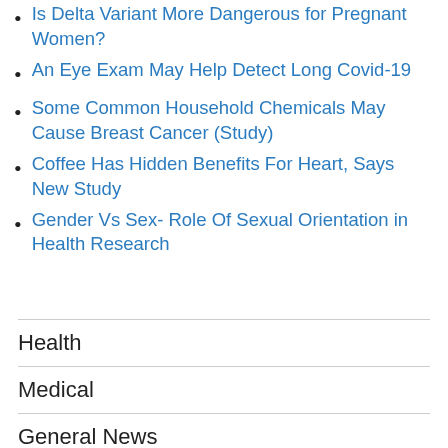Is Delta Variant More Dangerous for Pregnant Women?
An Eye Exam May Help Detect Long Covid-19
Some Common Household Chemicals May Cause Breast Cancer (Study)
Coffee Has Hidden Benefits For Heart, Says New Study
Gender Vs Sex- Role Of Sexual Orientation in Health Research
Health
Medical
General News